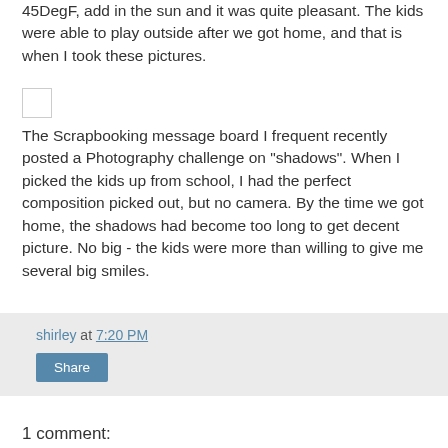45DegF, add in the sun and it was quite pleasant. The kids were able to play outside after we got home, and that is when I took these pictures.
[Figure (photo): Small image placeholder (checkbox-like square)]
The Scrapbooking message board I frequent recently posted a Photography challenge on "shadows". When I picked the kids up from school, I had the perfect composition picked out, but no camera. By the time we got home, the shadows had become too long to get decent picture. No big - the kids were more than willing to give me several big smiles.
shirley at 7:20 PM
Share
1 comment: